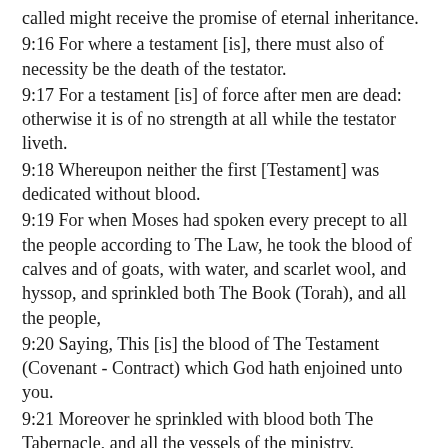called might receive the promise of eternal inheritance.
9:16 For where a testament [is], there must also of necessity be the death of the testator.
9:17 For a testament [is] of force after men are dead: otherwise it is of no strength at all while the testator liveth.
9:18 Whereupon neither the first [Testament] was dedicated without blood.
9:19 For when Moses had spoken every precept to all the people according to The Law, he took the blood of calves and of goats, with water, and scarlet wool, and hyssop, and sprinkled both The Book (Torah), and all the people,
9:20 Saying, This [is] the blood of The Testament (Covenant - Contract) which God hath enjoined unto you.
9:21 Moreover he sprinkled with blood both The Tabernacle, and all the vessels of the ministry.
9:22 And almost all things are by The Law purged with blood; and without shedding of blood is no remission.